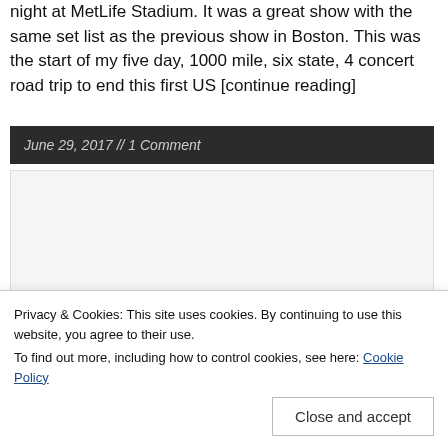night at MetLife Stadium. It was a great show with the same set list as the previous show in Boston. This was the start of my five day, 1000 mile, six state, 4 concert road trip to end this first US [continue reading]
June 29, 2017 // 1 Comment
[Figure (other): Advertisement placeholder block]
Privacy & Cookies: This site uses cookies. By continuing to use this website, you agree to their use.
To find out more, including how to control cookies, see here: Cookie Policy
Close and accept